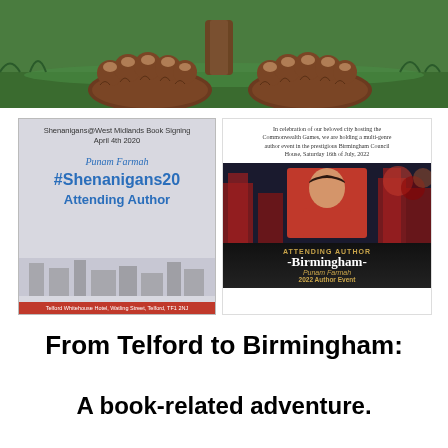[Figure (illustration): Top portion of a bigfoot/sasquatch cartoon illustration showing large hairy feet on green grassy ground]
[Figure (infographic): Left event card: Shenanigans@West Midlands Book Signing April 4th 2020, Punam Farmah #Shenanigans20 Attending Author, Telford Whitehouse Hotel, Watling Street, Telford, TF1 2NJ]
[Figure (infographic): Right event card: In celebration of our beloved city hosting the Commonwealth Games, multi-genre author event at Birmingham Council House, Saturday 16th of July 2022. ATTENDING AUTHOR -Birmingham- Punam Farmah 2022 Author Event]
From Telford to Birmingham:
A book-related adventure.